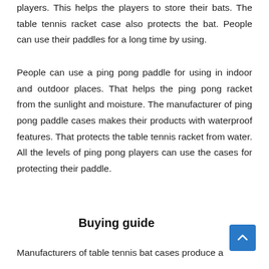players. This helps the players to store their bats. The table tennis racket case also protects the bat. People can use their paddles for a long time by using.
People can use a ping pong paddle for using in indoor and outdoor places. That helps the ping pong racket from the sunlight and moisture. The manufacturer of ping pong paddle cases makes their products with waterproof features. That protects the table tennis racket from water. All the levels of ping pong players can use the cases for protecting their paddle.
Buying guide
Manufacturers of table tennis bat cases produce a